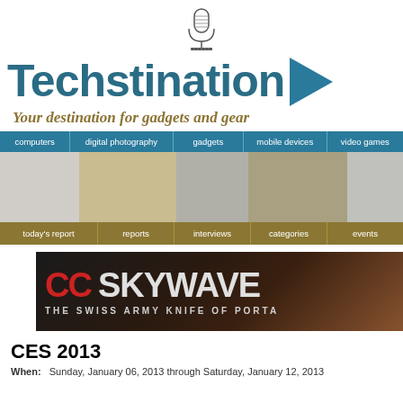[Figure (logo): Techstination logo with microphone icon, teal brand name, play button arrow, and tagline 'Your destination for gadgets and gear']
[Figure (screenshot): Navigation bar with teal background: computers, digital photography, gadgets, mobile devices, video games]
[Figure (photo): Photo strip of technology gadgets]
[Figure (screenshot): Navigation bar with olive/gold background: today's report, reports, interviews, categories, events]
[Figure (screenshot): CC Skywave banner: 'CC SKYWAVE - THE SWISS ARMY KNIFE OF PORTA[BLE RADIO]' on dark background with red and white text]
CES 2013
When:   Sunday, January 06, 2013 through Saturday, January 12, 2013